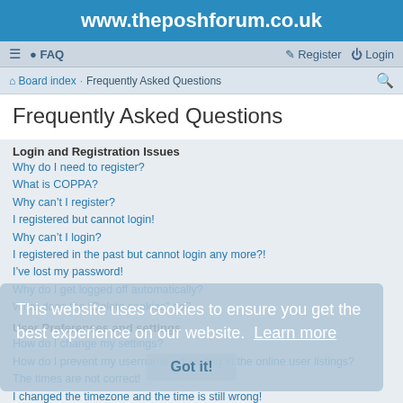www.theposhforum.co.uk
≡  FAQ  Register  Login
Board index · Frequently Asked Questions
Frequently Asked Questions
Login and Registration Issues
Why do I need to register?
What is COPPA?
Why can't I register?
I registered but cannot login!
Why can't I login?
I registered in the past but cannot login any more?!
I've lost my password!
Why do I get logged off automatically?
What does the "Delete cookies" do?
User Preferences and settings
How do I change my settings?
How do I prevent my username appearing in the online user listings?
The times are not correct!
I changed the timezone and the time is still wrong!
My language is not in the list!
What are the images next to my username?
This website uses cookies to ensure you get the best experience on our website. Learn more  Got it!